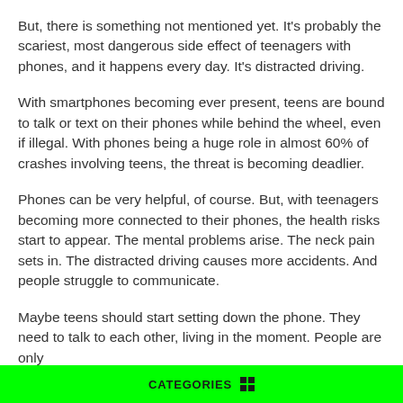But, there is something not mentioned yet. It’s probably the scariest, most dangerous side effect of teenagers with phones, and it happens every day. It’s distracted driving.
With smartphones becoming ever present, teens are bound to talk or text on their phones while behind the wheel, even if illegal. With phones being a huge role in almost 60% of crashes involving teens, the threat is becoming deadlier.
Phones can be very helpful, of course. But, with teenagers becoming more connected to their phones, the health risks start to appear. The mental problems arise. The neck pain sets in. The distracted driving causes more accidents. And people struggle to communicate.
Maybe teens should start setting down the phone. They need to talk to each other, living in the moment. People are only
CATEGORIES